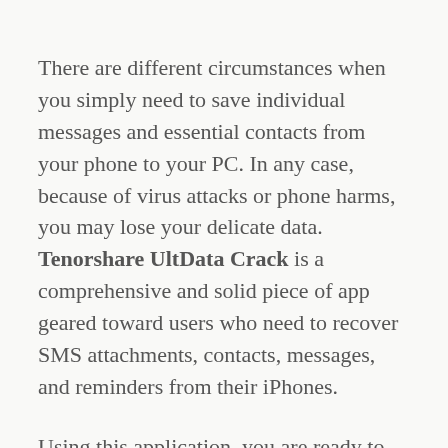There are different circumstances when you simply need to save individual messages and essential contacts from your phone to your PC. In any case, because of virus attacks or phone harms, you may lose your delicate data. Tenorshare UltData Crack is a comprehensive and solid piece of app geared toward users who need to recover SMS attachments, contacts, messages, and reminders from their iPhones.
Using this application, you are ready to get all your lost iPhone data back. It can recover data including photographs, WhatsApp messages, voice memos, and Safari bookmarks, to name a couple. In the wake of connecting your iOS device to your PC through a USB cable, you...